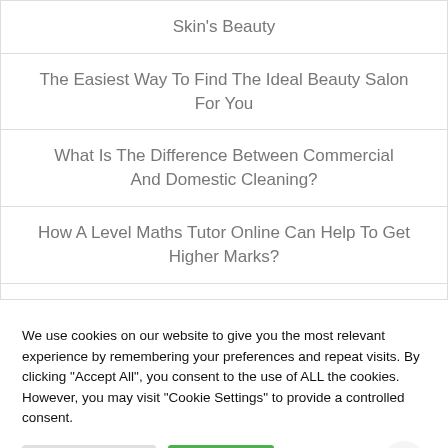Skin's Beauty
The Easiest Way To Find The Ideal Beauty Salon For You
What Is The Difference Between Commercial And Domestic Cleaning?
How A Level Maths Tutor Online Can Help To Get Higher Marks?
We use cookies on our website to give you the most relevant experience by remembering your preferences and repeat visits. By clicking "Accept All", you consent to the use of ALL the cookies. However, you may visit "Cookie Settings" to provide a controlled consent.